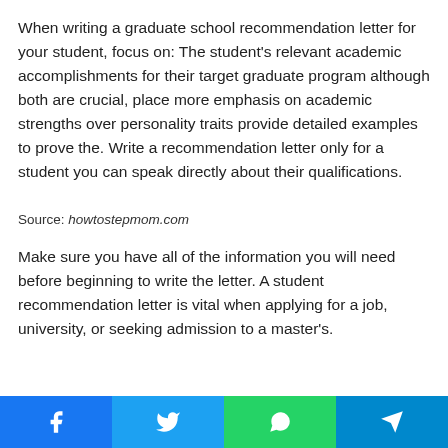When writing a graduate school recommendation letter for your student, focus on: The student's relevant academic accomplishments for their target graduate program although both are crucial, place more emphasis on academic strengths over personality traits provide detailed examples to prove the. Write a recommendation letter only for a student you can speak directly about their qualifications.
Source: howtostepmom.com
Make sure you have all of the information you will need before beginning to write the letter. A student recommendation letter is vital when applying for a job, university, or seeking admission to a master's.